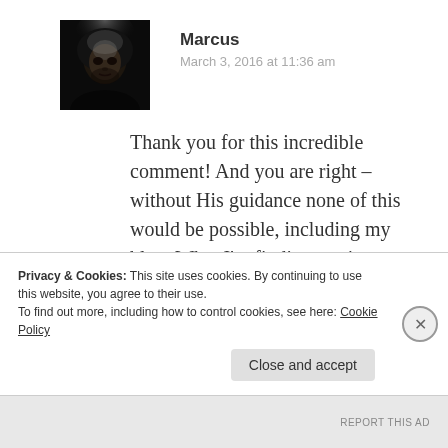[Figure (photo): Avatar/profile photo of user Marcus — dark dramatic portrait of a person with hood, dark background]
Marcus
March 3, 2016 at 11:36 am
Thank you for this incredible comment! And you are right – without His guidance none of this would be possible, including my blog. What I'm finding out is forgiveness is not always a one-shot deal. Sometimes I'm forgiving the same person for the same hurt
Privacy & Cookies: This site uses cookies. By continuing to use this website, you agree to their use.
To find out more, including how to control cookies, see here: Cookie Policy
Close and accept